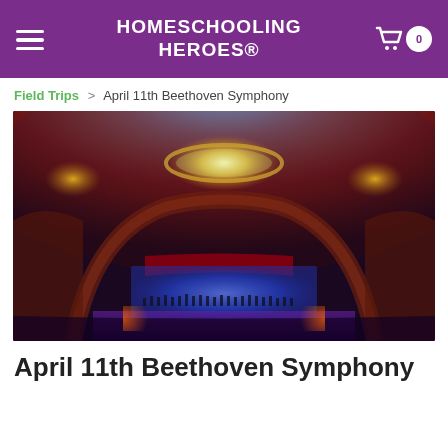HOMESCHOOLING HEROES®
Field Trips > April 11th Beethoven Symphony
[Figure (photo): Interior of a grand concert hall photographed from above and behind the audience. The ornate ceiling features dramatic red and blue lighting radiating outward. A chandelier glows with golden light at the center. On stage, an orchestra and chorus perform under bright blue stage lighting. The hall has elaborate architectural details with arched openings on the sides.]
April 11th Beethoven Symphony